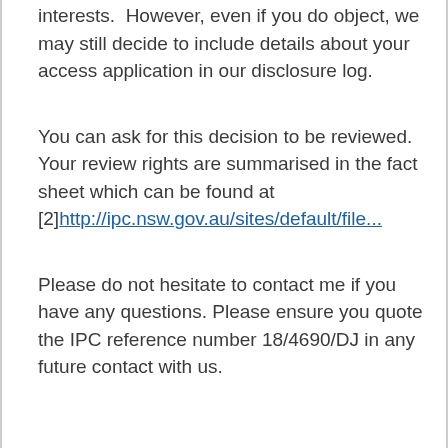interests.  However, even if you do object, we may still decide to include details about your access application in our disclosure log.
You can ask for this decision to be reviewed. Your review rights are summarised in the fact sheet which can be found at [2]http://ipc.nsw.gov.au/sites/default/file...
Please do not hesitate to contact me if you have any questions. Please ensure you quote the IPC reference number 18/4690/DJ in any future contact with us.